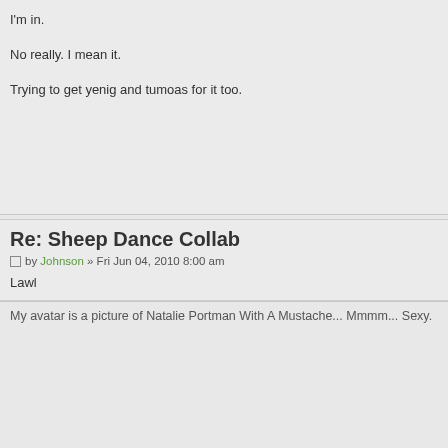I'm in.
No really. I mean it.
Trying to get yenig and tumoas for it too.
Re: Sheep Dance Collab
by Johnson » Fri Jun 04, 2010 8:00 am
Lawl
My avatar is a picture of Natalie Portman With A Mustache... Mmmm... Sexy.